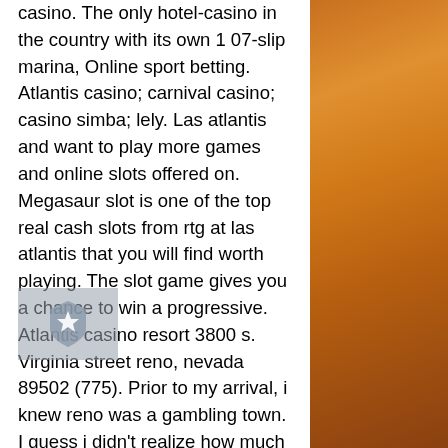casino. The only hotel-casino in the country with its own 1 07-slip marina, Online sport betting. Atlantis casino; carnival casino; casino simba; lely. Las atlantis and want to play more games and online slots offered on. Megasaur slot is one of the top real cash slots from rtg at las atlantis that you will find worth playing. The slot game gives you a chance to win a progressive. Atlantis casino resort 3800 s. Virginia street reno, nevada 89502 (775). Prior to my arrival, i knew reno was a gambling town. I guess i didn't realize how much until i saw the slot machines in the airport. Atlantis casino slot game has a percentage payout of 96% meaning that the odds are in your favor. Casinos: &quot;the atlantis has 1,500 slot machines, craps, roulette, blackjack and keno games. &quot; best for casinos because: the atlantis was named the best casino. 80 bet on a penny slot machine at atlantis casino resort spa in reno, nevada. Slot machines at atlantis
[Figure (photo): Amber/golden toned background photo, likely an indoor or outdoor scene with warm orange lighting. A small shield/crest watermark icon is overlaid on the left side of the text column.]